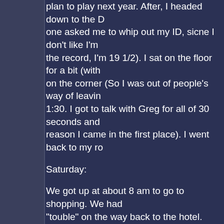plan to play next year. After, I headed down to the D one asked me to whip out my ID, sicne I don't like I'm the record, I'm 19 1/2). I sat on the floor for a bit (with on the corner (So I was out of people's way of leavin 1:30. I got to talk with Greg for all of 30 seconds and reason I came in the first place). I went back to my ro
Saturday:
We got up at about 8 am to go to shopping. We had "touble" on the way back to the hotel. Hudson and a at names, and was in no mood to pay attention anyh a bunch of stuff. Later, I hung out at the con suite (br discussing manga and evil twins until the Radio play. fact that Seth was playing Claw at first (I wasn't think moment), but I did later when he stood up. Some of t Thom as Servarius was SOOO hilarious! It was just s
I think it was here when I got Greg to sign my book. what, I couldn't tell. Then I got my picutre taken with the camera!).
At dinner I got to sit at the table with Nichelle Nichols